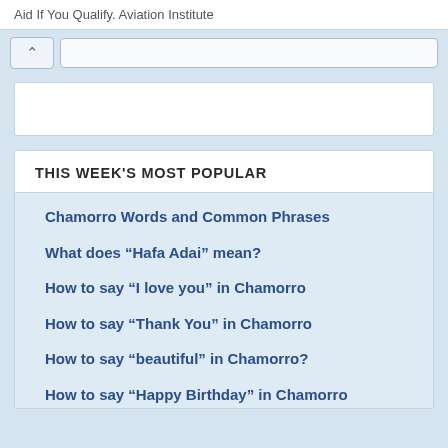Aid If You Qualify. Aviation Institute
THIS WEEK'S MOST POPULAR
Chamorro Words and Common Phrases
What does “Hafa Adai” mean?
How to say “I love you” in Chamorro
How to say “Thank You” in Chamorro
How to say “beautiful” in Chamorro?
How to say “Happy Birthday” in Chamorro